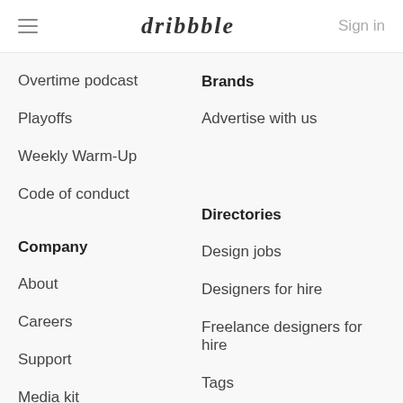dribbble | Sign in
Overtime podcast
Brands
Playoffs
Advertise with us
Weekly Warm-Up
Code of conduct
Company
Directories
About
Design jobs
Careers
Designers for hire
Support
Freelance designers for hire
Media kit
Tags
Testimonials
Places
API